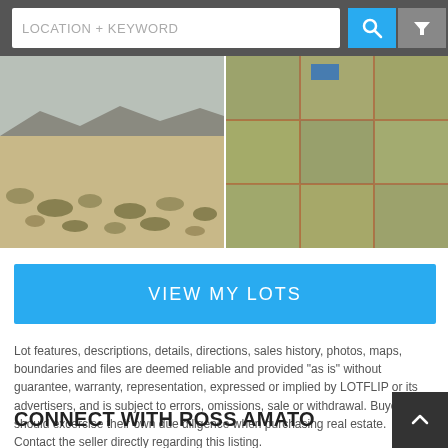LOCATION + KEYWORD
[Figure (photo): Desert scrubland landscape with sparse bushes and mountains in the background]
[Figure (photo): Aerial or satellite view of land parcels with boundary lines visible]
VIEW MY LOTS
Lot features, descriptions, details, directions, sales history, photos, maps, boundaries and files are deemed reliable and provided "as is" without guarantee, warranty, representation, expressed or implied by LOTFLIP or its advertisers, and is subject to errors, omissions, sale or withdrawal. Buyers should excercise their own due diligence when purchasing real estate. Contact the seller directly regarding this listing.
CONNECT WITH ROSS AMATO